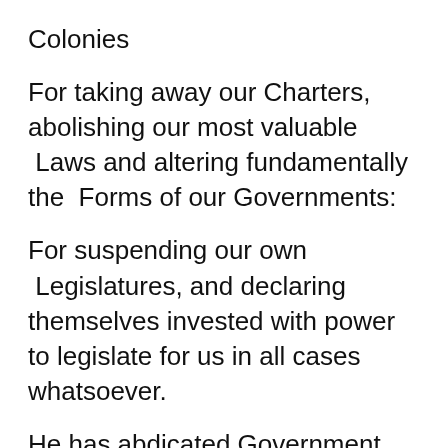Colonies
For taking away our Charters, abolishing our most valuable  Laws and altering fundamentally the  Forms of our Governments:
For suspending our own  Legislatures, and declaring themselves invested with power to legislate for us in all cases whatsoever.
He has abdicated Government here, by declaring us out of his  Protection and waging War against us.
He has plundered our seas, ravaged our coasts, burnt our towns, and destroyed the